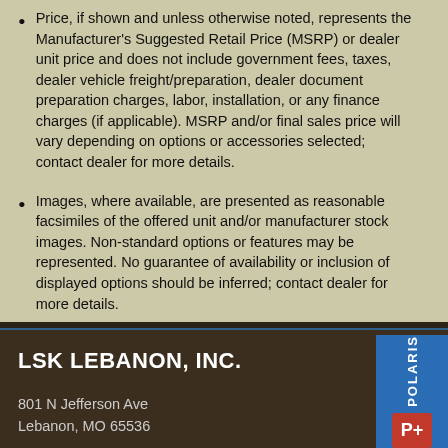Price, if shown and unless otherwise noted, represents the Manufacturer's Suggested Retail Price (MSRP) or dealer unit price and does not include government fees, taxes, dealer vehicle freight/preparation, dealer document preparation charges, labor, installation, or any finance charges (if applicable). MSRP and/or final sales price will vary depending on options or accessories selected; contact dealer for more details.
Images, where available, are presented as reasonable facsimiles of the offered unit and/or manufacturer stock images. Non-standard options or features may be represented. No guarantee of availability or inclusion of displayed options should be inferred; contact dealer for more details.
LSK LEBANON, INC.
801 N Jefferson Ave
Lebanon, MO 65536